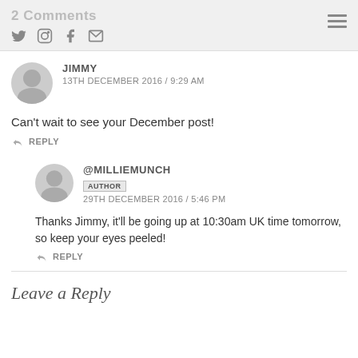2 Comments
JIMMY
13TH DECEMBER 2016 / 9:29 AM
Can't wait to see your December post!
REPLY
@MILLIEMUNCH
AUTHOR
29TH DECEMBER 2016 / 5:46 PM
Thanks Jimmy, it'll be going up at 10:30am UK time tomorrow, so keep your eyes peeled!
REPLY
Leave a Reply